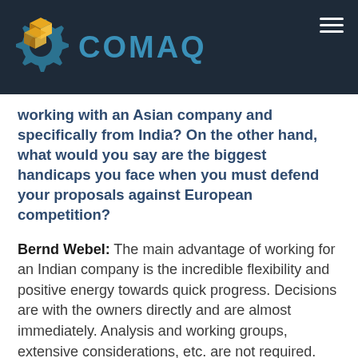[Figure (logo): COMAQ company logo with gear and box icon in gold and teal on dark navy background header]
working with an Asian company and specifically from India? On the other hand, what would you say are the biggest handicaps you face when you must defend your proposals against European competition?
Bernd Webel: The main advantage of working for an Indian company is the incredible flexibility and positive energy towards quick progress. Decisions are with the owners directly and are almost immediately. Analysis and working groups, extensive considerations, etc. are not required. Progress is much faster than in more hierarchical and